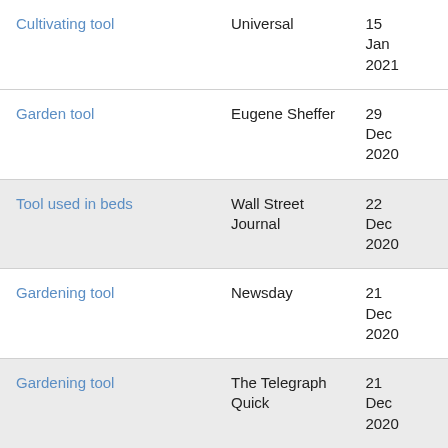| Clue | Source | Date |
| --- | --- | --- |
| Cultivating tool | Universal | 15 Jan 2021 |
| Garden tool | Eugene Sheffer | 29 Dec 2020 |
| Tool used in beds | Wall Street Journal | 22 Dec 2020 |
| Gardening tool | Newsday | 21 Dec 2020 |
| Gardening tool | The Telegraph Quick | 21 Dec 2020 |